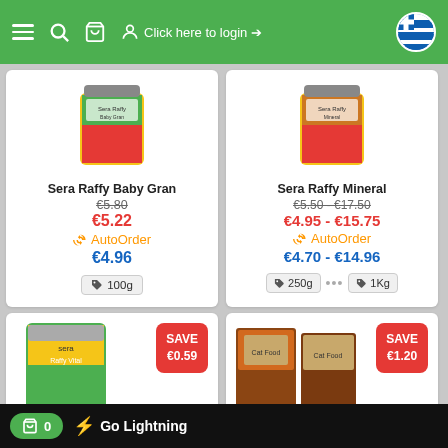Click here to login
[Figure (photo): Sera Raffy Baby Gran product container - yellow/red cylindrical jar]
Sera Raffy Baby Gran
€5.80 (strikethrough) €5.22 AutoOrder €4.96 100g
[Figure (photo): Sera Raffy Mineral product container - yellow/red cylindrical jar]
Sera Raffy Mineral
€5.50 - €17.50 (strikethrough) €4.95 - €15.75 AutoOrder €4.70 - €14.96 250g ... 1Kg
[Figure (photo): Sera Raffy Vital green product container with SAVE €0.59 badge]
[Figure (photo): Cat food product with SAVE €1.20 badge]
Go Lightning  0